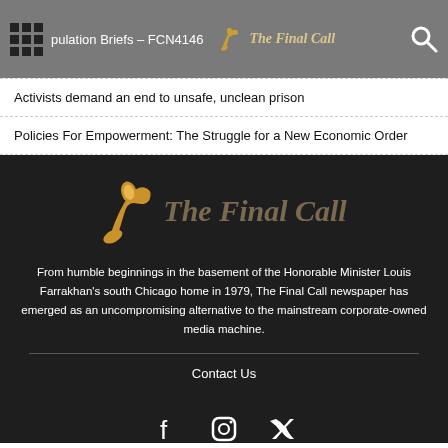Population Briefs – FCN4146 | The Final Call
Activists demand an end to unsafe, unclean prison
Policies For Empowerment: The Struggle for a New Economic Order
[Figure (logo): The Final Call newspaper logo with golden trumpet graphic and stylized gothic text reading 'The Final Call']
From humble beginnings in the basement of the Honorable Minister Louis Farrakhan's south Chicago home in 1979, The Final Call newspaper has emerged as an uncompromising alternative to the mainstream corporate-owned media machine.
Contact Us
[Figure (other): Social media icons: Facebook, Instagram, Twitter]